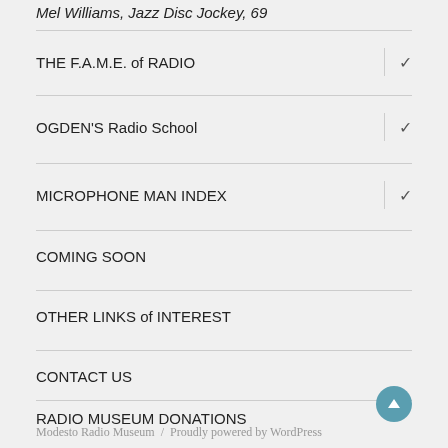Mel Williams, Jazz Disc Jockey, 69
THE F.A.M.E. of RADIO
OGDEN'S Radio School
MICROPHONE MAN INDEX
COMING SOON
OTHER LINKS of INTEREST
CONTACT US
RADIO MUSEUM DONATIONS
Modesto Radio Museum / Proudly powered by WordPress